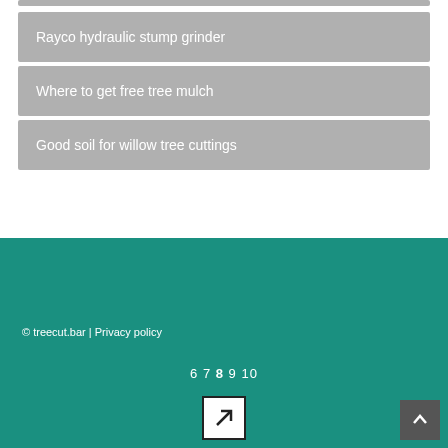Rayco hydraulic stump grinder
Where to get free tree mulch
Good soil for willow tree cuttings
© treecut.bar | Privacy policy
6 7 8 9 10